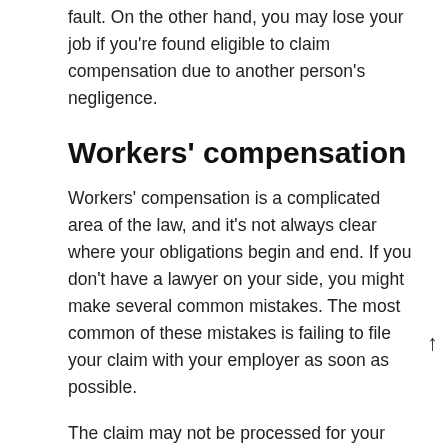fault. On the other hand, you may lose your job if you're found eligible to claim compensation due to another person's negligence.
Workers' compensation
Workers' compensation is a complicated area of the law, and it's not always clear where your obligations begin and end. If you don't have a lawyer on your side, you might make several common mistakes. The most common of these mistakes is failing to file your claim with your employer as soon as possible.
The claim may not be processed for your benefit, or it may be denied because of a lapse in the paperwork. If you're covered by a health maintenance organisation contract, you may also be entitled to additional benefits such as temporary disability benefits,